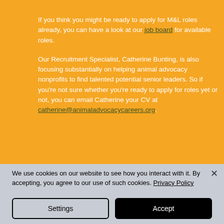If you think you might be ready to apply for M&L roles already, you can have a look at our job board for available roles.
Our Recruitment Specialist, Catherine Bunting, is also focusing substantially on helping animal advocacy nonprofits to find talented potential senior leaders. So if you're not sure whether you're ready to apply for roles yet or not, you can email Catherine your CV at catherine@animaladvocacycareers.org.
[Figure (photo): Partial photo strip showing a dark/person image at bottom of orange section]
We use cookies on our website to see how you interact with it. By accepting, you agree to our use of such cookies. Privacy Policy